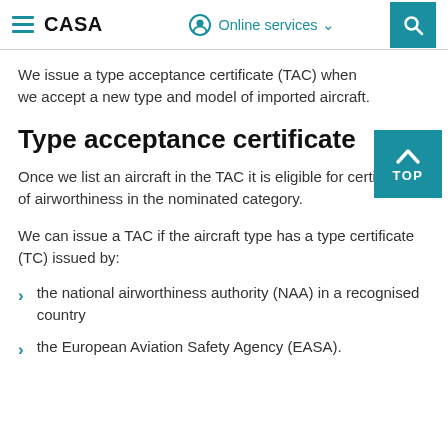CASA | Online services
We issue a type acceptance certificate (TAC) when we accept a new type and model of imported aircraft.
Type acceptance certificate
Once we list an aircraft in the TAC it is eligible for certificates of airworthiness in the nominated category.
We can issue a TAC if the aircraft type has a type certificate (TC) issued by:
the national airworthiness authority (NAA) in a recognised country
the European Aviation Safety Agency (EASA).